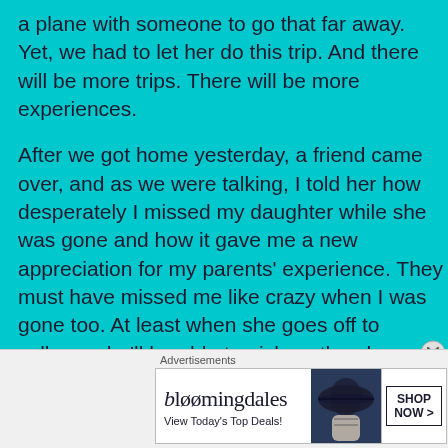a plane with someone to go that far away. Yet, we had to let her do this trip. And there will be more trips. There will be more experiences.
After we got home yesterday, a friend came over, and as we were talking, I told her how desperately I missed my daughter while she was gone and how it gave me a new appreciation for my parents' experience. They must have missed me like crazy when I was gone too. At least when she goes off to college, she'll be able to pick up the phone and call. As for this trip...I'm thrilled she had the experience. I know she learned a lot about Iceland but even more about herself and her ability to persevere. But
Advertisements
[Figure (other): Bloomingdale's advertisement banner with logo, 'View Today's Top Deals!' tagline, woman with wide-brim hat, and 'SHOP NOW >' button]